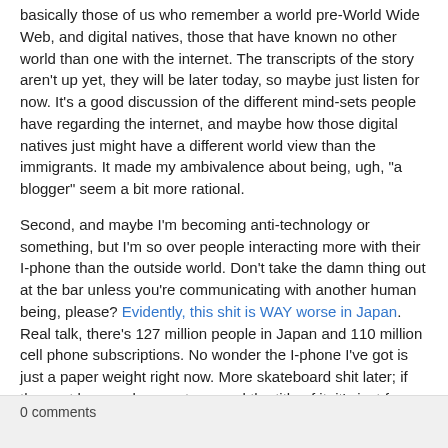basically those of us who remember a world pre-World Wide Web, and digital natives, those that have known no other world than one with the internet. The transcripts of the story aren't up yet, they will be later today, so maybe just listen for now. It's a good discussion of the different mind-sets people have regarding the internet, and maybe how those digital natives just might have a different world view than the immigrants. It made my ambivalence about being, ugh, "a blogger" seem a bit more rational.
Second, and maybe I'm becoming anti-technology or something, but I'm so over people interacting more with their I-phone than the outside world. Don't take the damn thing out at the bar unless you're communicating with another human being, please? Evidently, this shit is WAY worse in Japan. Real talk, there's 127 million people in Japan and 110 million cell phone subscriptions. No wonder the I-phone I've got is just a paper weight right now. More skateboard shit later; if the post bummed you out, re-read the title of it, it's just for you!
0 comments